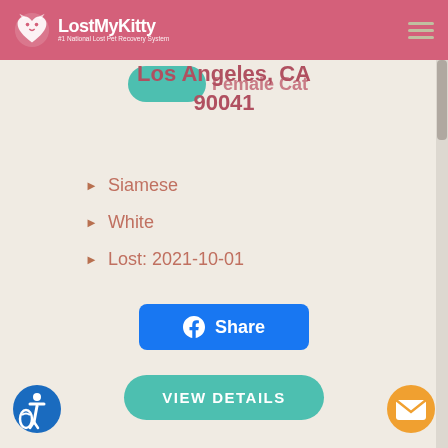LostMyKitty — #1 National Lost Pet Recovery System
Female Cat (partially visible)
Los Angeles, CA 90041
Siamese
White
Lost: 2021-10-01
Share (Facebook button)
VIEW DETAILS